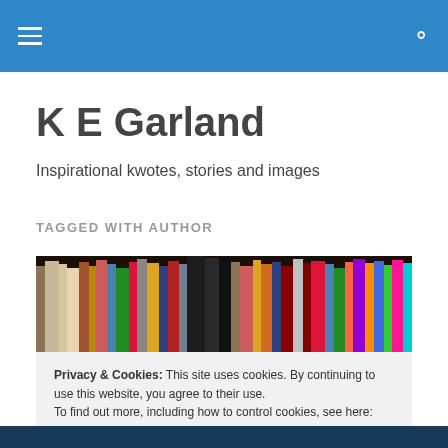[navigation bar with menu icon and search icon]
K E Garland
Inspirational kwotes, stories and images
TAGGED WITH AUTHOR
[Figure (photo): A shelf of colorful books viewed from the side, densely packed together.]
Privacy & Cookies: This site uses cookies. By continuing to use this website, you agree to their use.
To find out more, including how to control cookies, see here: Cookie Policy
[Close and accept button]